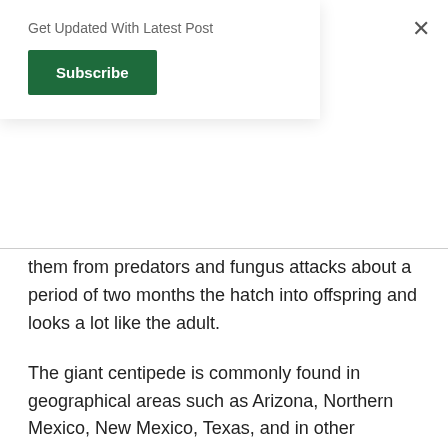Get Updated With Latest Post
Subscribe
them from predators and fungus attacks about a period of two months the hatch into offspring and looks a lot like the adult.
The giant centipede is commonly found in geographical areas such as Arizona, Northern Mexico, New Mexico, Texas, and in other regions. The life span of this pest is studied and recorded to be in the longevity of 1-6 years and an average period of seven years.
Moreover, besides their name giant desert centipede, they are mostly seen in a rocky woodland area of the